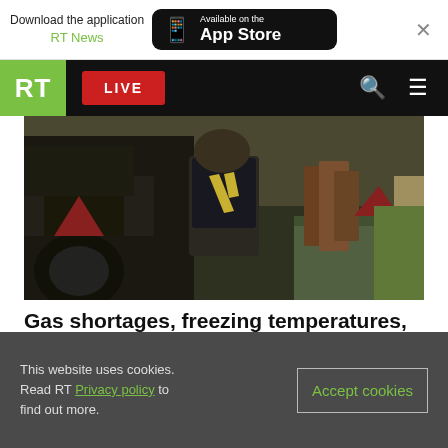Download the application RT News — Available on the App Store
[Figure (screenshot): RT news website navigation bar with green RT logo, red LIVE button, search and menu icons]
[Figure (photo): A worker carrying firewood or logs near agricultural machinery outdoors]
Gas shortages, freezing temperatures, firewood hoarding: Just how bad could things get this winter? FEATURE
This website uses cookies. Read RT Privacy policy to find out more.
Accept cookies